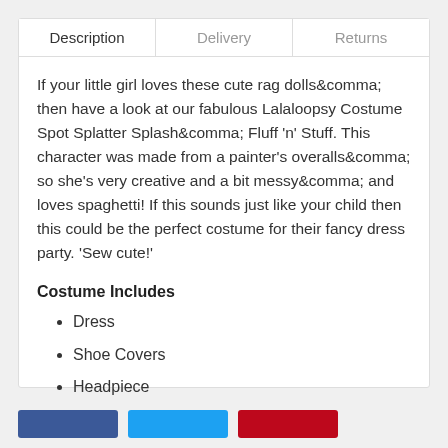Description | Delivery | Returns
If your little girl loves these cute rag dolls&comma; then have a look at our fabulous Lalaloopsy Costume Spot Splatter Splash&comma; Fluff 'n' Stuff. This character was made from a painter's overalls&comma; so she's very creative and a bit messy&comma; and loves spaghetti! If this sounds just like your child then this could be the perfect costume for their fancy dress party. 'Sew cute!'
Costume Includes
Dress
Shoe Covers
Headpiece